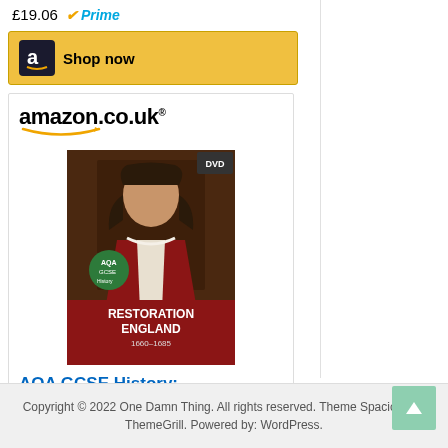£19.06 Prime
[Figure (screenshot): Amazon Shop now button with black Amazon 'a' icon on gold background]
[Figure (screenshot): Amazon.co.uk product listing card showing a book titled 'AQA GCSE History: Restoration England' with cover image of a nobleman, priced at £16.99 with Prime, and a Shop now button]
Copyright © 2022 One Damn Thing. All rights reserved. Theme Spacious by ThemeGrill. Powered by: WordPress.